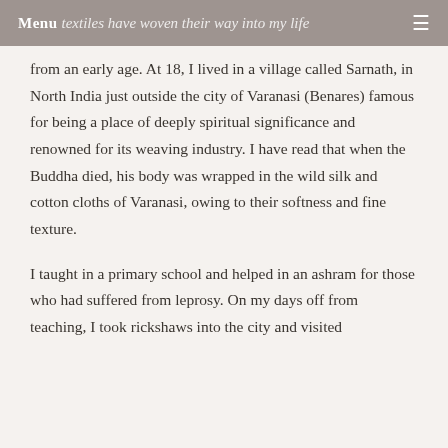Menu | textiles have woven their way into my life
from an early age. At 18, I lived in a village called Sarnath, in North India just outside the city of Varanasi (Benares) famous for being a place of deeply spiritual significance and renowned for its weaving industry. I have read that when the Buddha died, his body was wrapped in the wild silk and cotton cloths of Varanasi, owing to their softness and fine texture.
I taught in a primary school and helped in an ashram for those who had suffered from leprosy. On my days off from teaching, I took rickshaws into the city and visited